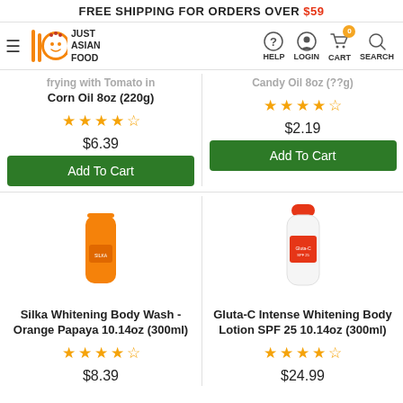FREE SHIPPING FOR ORDERS OVER $59
[Figure (logo): Just Asian Food logo with orange mascot character and orange/green chopstick icon]
Frying with Tomato in Corn Oil 8oz (220g)
Candy Oil 8oz (??g)
$6.39
$2.19
Add To Cart
Add To Cart
[Figure (photo): Orange bottle of Silka Whitening Body Wash - Orange Papaya 10.14oz (300ml)]
[Figure (photo): White bottle with red cap of Gluta-C Intense Whitening Body Lotion SPF 25 10.14oz (300ml)]
Silka Whitening Body Wash - Orange Papaya 10.14oz (300ml)
Gluta-C Intense Whitening Body Lotion SPF 25 10.14oz (300ml)
$8.39
$24.99